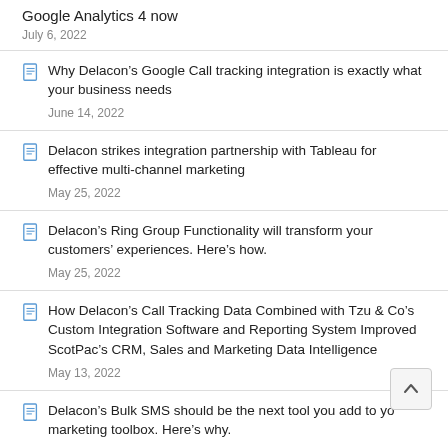Google Analytics 4 now
July 6, 2022
Why Delacon’s Google Call tracking integration is exactly what your business needs
June 14, 2022
Delacon strikes integration partnership with Tableau for effective multi-channel marketing
May 25, 2022
Delacon’s Ring Group Functionality will transform your customers’ experiences. Here’s how.
May 25, 2022
How Delacon’s Call Tracking Data Combined with Tzu & Co’s Custom Integration Software and Reporting System Improved ScotPac’s CRM, Sales and Marketing Data Intelligence
May 13, 2022
Delacon’s Bulk SMS should be the next tool you add to your marketing toolbox. Here’s why.
April 14, 2022